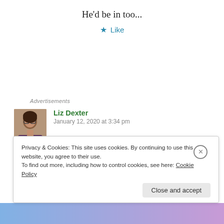He'd be in too...
★ Like
Advertisements
Liz Dexter
January 12, 2020 at 3:34 pm
Fascinating stuff: thank you for sharing.
Privacy & Cookies: This site uses cookies. By continuing to use this website, you agree to their use.
To find out more, including how to control cookies, see here: Cookie Policy
Close and accept